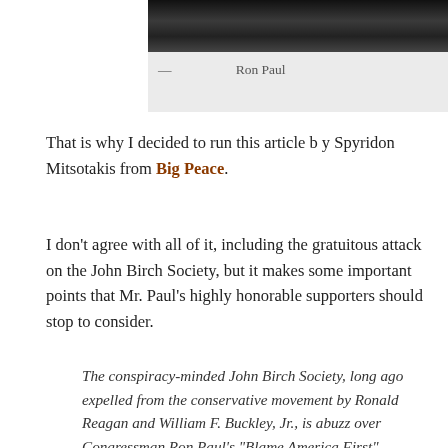[Figure (photo): Black and white photo strip at top of page, partially cropped]
— Ron Paul
That is why I decided to run this article b y Spyridon Mitsotakis from Big Peace.
I don't agree with all of it, including the gratuitous attack on the John Birch Society, but it makes some important points that Mr. Paul's highly honorable supporters should stop to consider.
The conspiracy-minded John Birch Society, long ago expelled from the conservative movement by Ronald Reagan and William F. Buckley, Jr., is abuzz over Congressman Ron Paul's "Blame America First" performance at Thursday night's Republican presidential debate.
Oddly, it was Paul's bizarre assessment of a nuclear Iran that impressed Birchers—and his many devoted supporters. "Just think of how many nuclear weapons